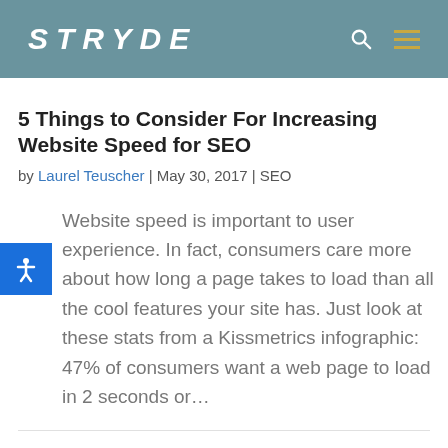STRYDE
5 Things to Consider For Increasing Website Speed for SEO
by Laurel Teuscher | May 30, 2017 | SEO
Website speed is important to user experience. In fact, consumers care more about how long a page takes to load than all the cool features your site has. Just look at these stats from a Kissmetrics infographic: 47% of consumers want a web page to load in 2 seconds or…
Google Announces Two Important Ranking Signal Changes